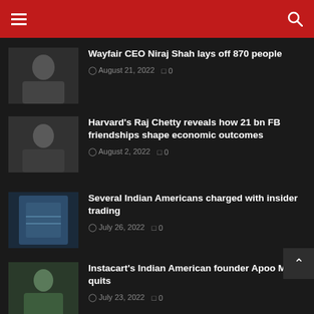Navigation header with hamburger menu and search icon
Wayfair CEO Niraj Shah lays off 870 people
August 21, 2022  0
Harvard's Raj Chetty reveals how 21 bn FB friendships shape economic outcomes
August 2, 2022  0
Several Indian Americans charged with insider trading
July 26, 2022  0
Instacart's Indian American founder Apoo Mehta quits
July 23, 2022  0